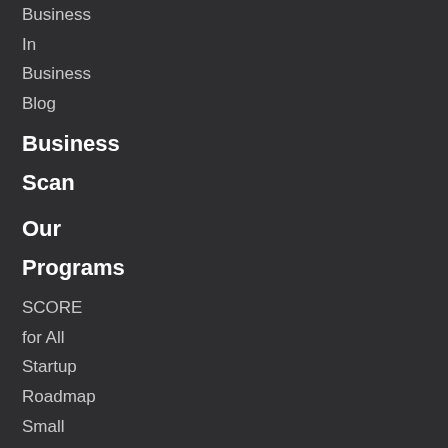Business
In
Business
Blog
Business
Scan
Our
Programs
SCORE
for All
Startup
Roadmap
Small
Business
Resilience